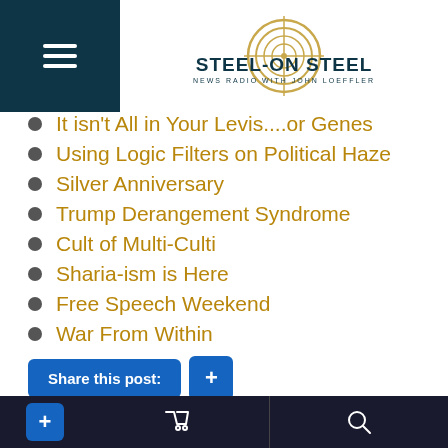Steel on Steel — News Radio with John Loeffler
It isn't All in Your Levis....or Genes
Using Logic Filters on Political Haze
Silver Anniversary
Trump Derangement Syndrome
Cult of Multi-Culti
Sharia-ism is Here
Free Speech Weekend
War From Within
Share this post:
DONATE
Steel on Steel is supported by listeners like you! If you enjoy the free shows and want to help keep this content available for